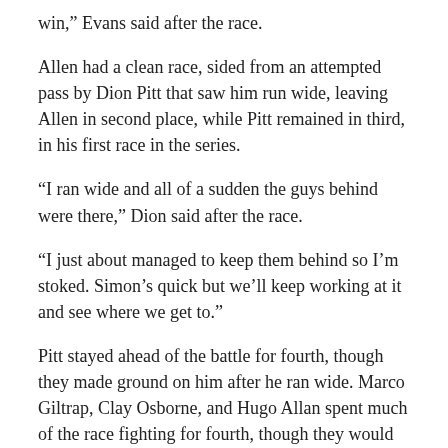win,” Evans said after the race.
Allen had a clean race, sided from an attempted pass by Dion Pitt that saw him run wide, leaving Allen in second place, while Pitt remained in third, in his first race in the series.
“I ran wide and all of a sudden the guys behind were there,” Dion said after the race.
“I just about managed to keep them behind so I’m stoked. Simon’s quick but we’ll keep working at it and see where we get to.”
Pitt stayed ahead of the battle for fourth, though they made ground on him after he ran wide. Marco Giltrap, Clay Osborne, and Hugo Allan spent much of the race fighting for fourth, though they would cross the line in fourth, fifth, and sixth respectively.